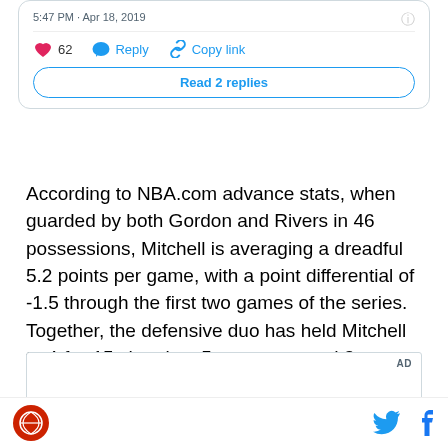[Figure (screenshot): Tweet interaction bar showing: heart icon with count 62, Reply button, Copy link button, and a Read 2 replies button]
According to NBA.com advance stats, when guarded by both Gordon and Rivers in 46 possessions, Mitchell is averaging a dreadful 5.2 points per game, with a point differential of -1.5 through the first two games of the series. Together, the defensive duo has held Mitchell to 4-for-15 shooting, 5 turnovers, and 3 blocked shots.
[Figure (other): AD box placeholder]
Site logo and social share icons (Twitter and Facebook)